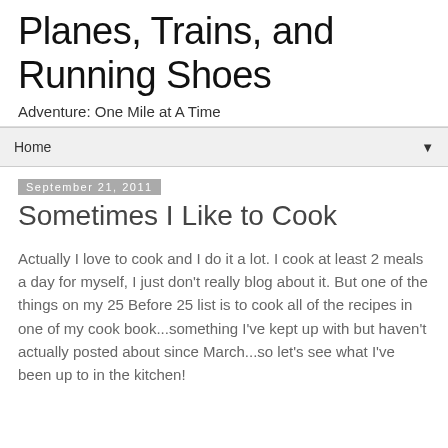Planes, Trains, and Running Shoes
Adventure: One Mile at A Time
Home ▼
September 21, 2011
Sometimes I Like to Cook
Actually I love to cook and I do it a lot. I cook at least 2 meals a day for myself, I just don't really blog about it. But one of the things on my 25 Before 25 list is to cook all of the recipes in one of my cook book...something I've kept up with but haven't actually posted about since March...so let's see what I've been up to in the kitchen!